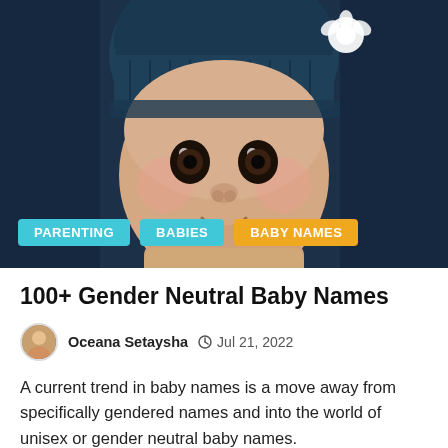[Figure (photo): Close-up photo of a baby wearing a dark teal/navy knit hat with a small white decorative element. The baby has wide dark eyes, chubby cheeks, and is looking directly at the camera. Background is dark blue. Three colored category tags overlay the bottom of the image: PARENTING (cyan), BABIES (cyan), BABY NAMES (yellow/orange).]
100+ Gender Neutral Baby Names
Oceana Setaysha   Jul 21, 2022
A current trend in baby names is a move away from specifically gendered names and into the world of unisex or gender neutral baby names.